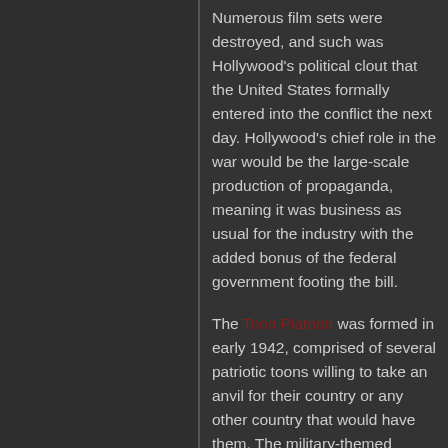Numerous film sets were destroyed, and such was Hollywood's political clout that the United States formally entered into the conflict the next day. Hollywood's chief role in the war would be the large-scale production of propaganda, meaning it was business as usual for the industry with the added bonus of the federal government footing the bill.
The Toon Platoon was formed in early 1942, comprised of several patriotic toons willing to take an anvil for their country or any other country that would have them. The military-themed cartoons they